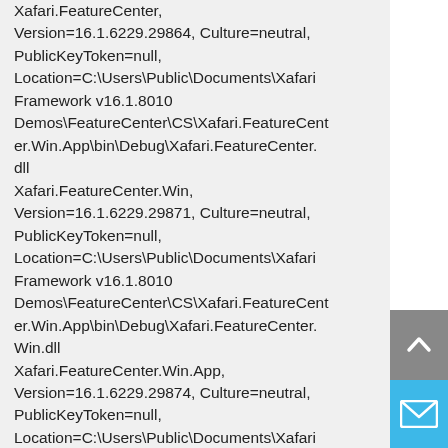Xafari.FeatureCenter, Version=16.1.6229.29864, Culture=neutral, PublicKeyToken=null, Location=C:\Users\Public\Documents\Xafari Framework v16.1.8010 Demos\FeatureCenter\CS\Xafari.FeatureCenter.Win.App\bin\Debug\Xafari.FeatureCenter.dll
Xafari.FeatureCenter.Win, Version=16.1.6229.29871, Culture=neutral, PublicKeyToken=null, Location=C:\Users\Public\Documents\Xafari Framework v16.1.8010 Demos\FeatureCenter\CS\Xafari.FeatureCenter.Win.App\bin\Debug\Xafari.FeatureCenter.Win.dll
Xafari.FeatureCenter.Win.App, Version=16.1.6229.29874, Culture=neutral, PublicKeyToken=null, Location=C:\Users\Public\Documents\Xafari Framework v16.1.8010 Demos\FeatureCenter\CS\Xafari.FeatureCenter.Win.App\bin\Debug\Xafari.FeatureCenter.
[Figure (other): Blue button with envelope/mail icon]
[Figure (other): Gray button with upward arrow icon]